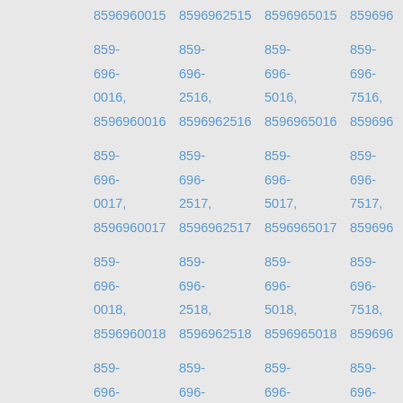8596960015 8596962515 8596965015 859696...
859-696-0016, 8596960016  859-696-2516, 8596962516  859-696-5016, 8596965016  859-696-7516, 859696...
859-696-0017, 8596960017  859-696-2517, 8596962517  859-696-5017, 8596965017  859-696-7517, 859696...
859-696-0018, 8596960018  859-696-2518, 8596962518  859-696-5018, 8596965018  859-696-7518, 859696...
859-696-... 859-696-... 859-696-... 859-696-...